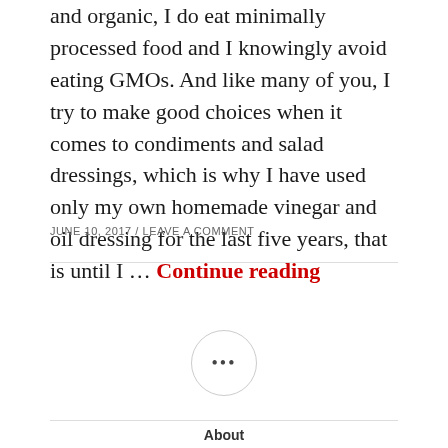and organic, I do eat minimally processed food and I knowingly avoid eating GMOs. And like many of you, I try to make good choices when it comes to condiments and salad dressings, which is why I have used only my own homemade vinegar and oil dressing for the last five years, that is until I … Continue reading
JUNE 10, 2017 / LEAVE A COMMENT
[Figure (other): A circular button with three dots (ellipsis) inside, centered on the page]
About